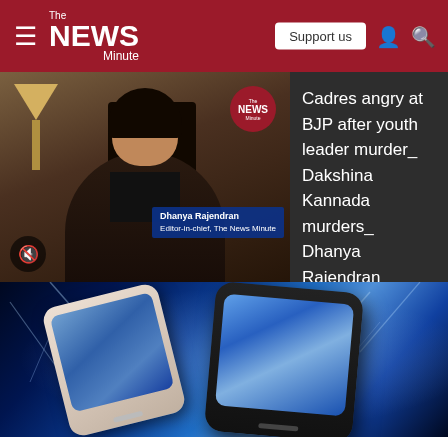The News Minute
[Figure (screenshot): Video thumbnail showing Dhanya Rajendran, Editor-in-chief of The News Minute, with name tag overlay and mute icon]
Cadres angry at BJP after youth leader murder_ Dakshina Kannada murders_ Dhanya Rajendran
[Figure (photo): Smartphone advertisement image showing two phones against a dramatic blue lightning/storm background]
ATOM  TECH SHORTS |  MONDAY, OCTOBER 22, 2018 - 11:29
S. Mahadevan